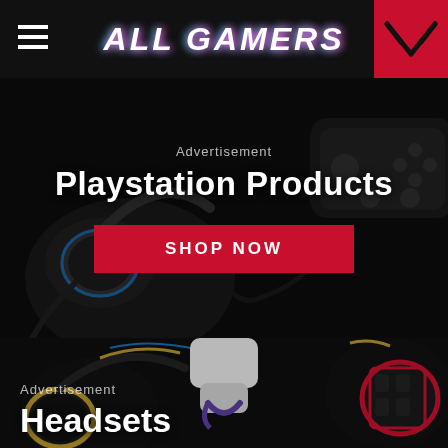ALL GAMERS
Advertisement
Playstation Products
SHOP NOW
[Figure (photo): Dark background photo of a HyperX gaming headset (blue accents) and PS4 DualShock controller]
[Figure (photo): Close-up photo of multiple gaming headsets with gold, blue, purple and red accents displayed on stands]
Advertisement
Headsets